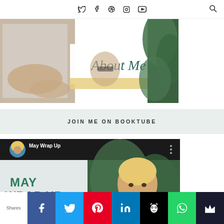Social media nav icons: Twitter, Facebook, Pinterest, Instagram, YouTube, Search
[Figure (photo): About Me banner with a woman holding a sign reading 'About Me' in cursive script, with tropical plant background]
JOIN ME ON BOOKTUBE
[Figure (screenshot): YouTube video thumbnail showing 'May Wrap Up' with a blonde woman in front of green foliage, with YouTube play button overlay and 'MAY WRAP UP' text]
Shares | Facebook | Twitter | Pinterest | LinkedIn | Hootsuite | WhatsApp | Crown/other